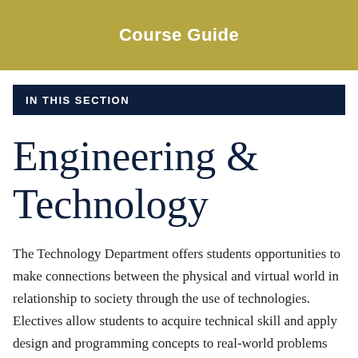Course Guide
IN THIS SECTION
Engineering & Technology
The Technology Department offers students opportunities to make connections between the physical and virtual world in relationship to society through the use of technologies. Electives allow students to acquire technical skill and apply design and programming concepts to real-world problems and prepare them for possible career paths in the